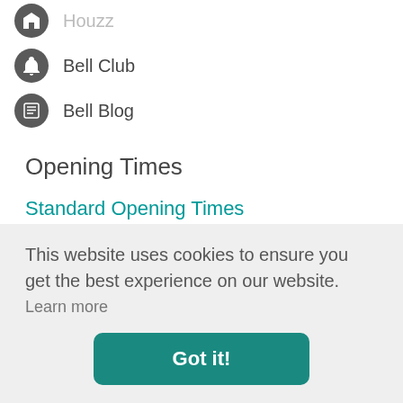Houzz
Bell Club
Bell Blog
Opening Times
Standard Opening Times
Showroom opening hours: Tuesday to Saturday: 9.00am - 5.00pm (Sunday & Monday Closed)
Love Lunch @ Bell Café: Tuesday to Saturday 10.00am
This website uses cookies to ensure you get the best experience on our website.
Learn more
Got it!